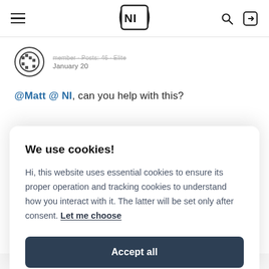NI — Navigation header with hamburger menu, NI logo, search and login icons
January 20
@Matt @ NI, can you help with this?
We use cookies!
Hi, this website uses essential cookies to ensure its proper operation and tracking cookies to understand how you interact with it. The latter will be set only after consent. Let me choose
Accept all
Reject all
pedal which looks ideal, but I'm not sure it's supported.